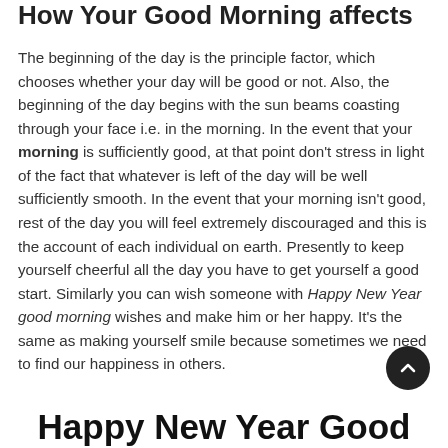How Your Good Morning affects
The beginning of the day is the principle factor, which chooses whether your day will be good or not. Also, the beginning of the day begins with the sun beams coasting through your face i.e. in the morning. In the event that your morning is sufficiently good, at that point don't stress in light of the fact that whatever is left of the day will be well sufficiently smooth. In the event that your morning isn't good, rest of the day you will feel extremely discouraged and this is the account of each individual on earth. Presently to keep yourself cheerful all the day you have to get yourself a good start. Similarly you can wish someone with Happy New Year good morning wishes and make him or her happy. It's the same as making yourself smile because sometimes we need to find our happiness in others.
Happy New Year Good